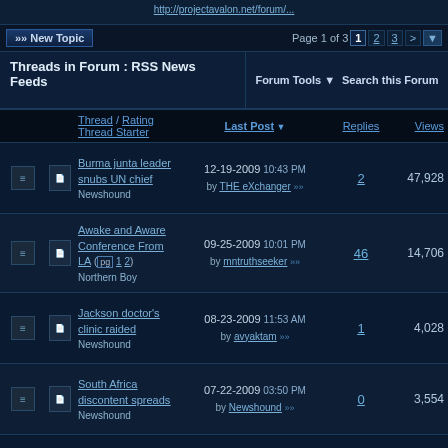http://projectavalon.net/forum/...
»» New Topic    Page 1 of 3  1  2  3  >
Threads in Forum : RSS News Feeds    Forum Tools ▼    Search this Forum
| Thread / Thread Starter | Rating | Last Post | Replies | Views |
| --- | --- | --- | --- | --- |
| Burma junta leader snubs UN chief
Newshound |  | 12-19-2009 10:43 PM
by THE eXchanger »» | 2 | 47,928 |
| Awake and Aware Conference From LA (pg 1 2)
Northern Boy |  | 09-25-2009 10:01 PM
by mntruthseeker »» | 46 | 14,706 |
| Jackson doctor's clinic raided
Newshound |  | 08-23-2009 11:53 AM
by avyaktam »» | 1 | 4,028 |
| South Africa discontent spreads
Newshound |  | 07-22-2009 03:50 PM
by Newshound »» | 0 | 3,554 |
| US 'ready to boost Gulf defence'
Newshound |  | 07-22-2009 10:00 AM
by Newshound »» | 0 | 3,651 |